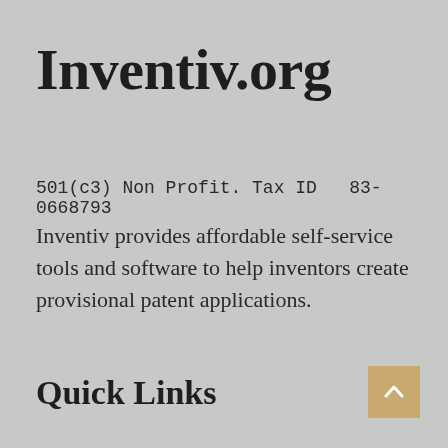Inventiv.org
501(c3) Non Profit. Tax ID   83-0668793
Inventiv provides affordable self-service tools and software to help inventors create provisional patent applications.
Quick Links